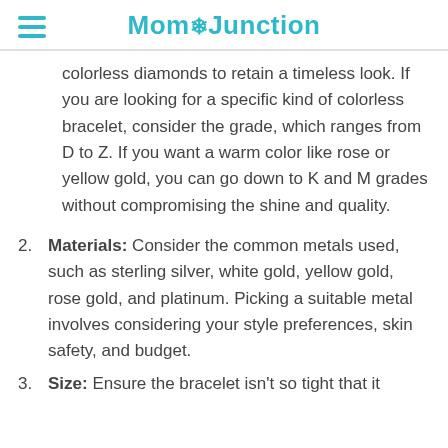MomJunction
colorless diamonds to retain a timeless look. If you are looking for a specific kind of colorless bracelet, consider the grade, which ranges from D to Z. If you want a warm color like rose or yellow gold, you can go down to K and M grades without compromising the shine and quality.
2. Materials: Consider the common metals used, such as sterling silver, white gold, yellow gold, rose gold, and platinum. Picking a suitable metal involves considering your style preferences, skin safety, and budget.
3. Size: Ensure the bracelet isn't so tight that it